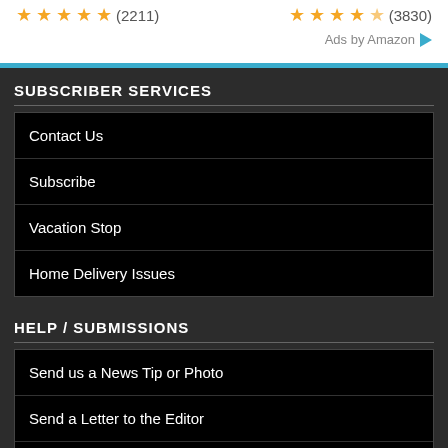[Figure (other): Star ratings with review counts: left group shows 5 stars (2211 reviews), right group shows 4.5 stars (3830 reviews)]
Ads by Amazon
SUBSCRIBER SERVICES
Contact Us
Subscribe
Vacation Stop
Home Delivery Issues
HELP / SUBMISSIONS
Send us a News Tip or Photo
Send a Letter to the Editor
Submit an Event